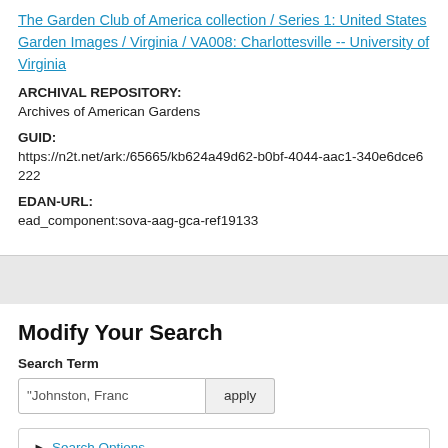The Garden Club of America collection / Series 1: United States Garden Images / Virginia / VA008: Charlottesville -- University of Virginia
ARCHIVAL REPOSITORY:
Archives of American Gardens
GUID:
https://n2t.net/ark:/65665/kb624a49d62-b0bf-4044-aac1-340e6dce6222
EDAN-URL:
ead_component:sova-aag-gca-ref19133
Modify Your Search
Search Term
"Johnston, Franc"
Search Options
Narrow By